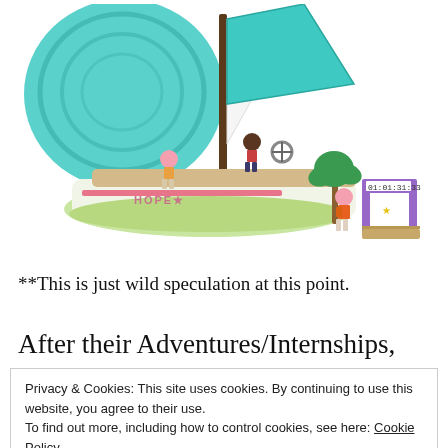[Figure (photo): LEGO Friends sailing boat set named HOPE with minifigures, teal sails, and a small dock/timer gate accessory]
**This is just wild speculation at this point.
After their Adventures/Internships, will the Friends return to Heartlake city? Fenella remained silent on
Privacy & Cookies: This site uses cookies. By continuing to use this website, you agree to their use.
To find out more, including how to control cookies, see here: Cookie Policy
Close and accept
Friends was introduced will now be finishing